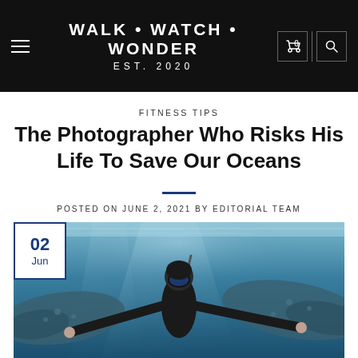WALK • WATCH • WONDER EST. 2020
FITNESS TIPS
The Photographer Who Risks His Life To Save Our Oceans
POSTED ON JUNE 2, 2021 BY EDITORIAL TEAM
[Figure (photo): Underwater photograph of a freediver/snorkeler in a black wetsuit and diving mask, swimming among whale sharks in blue ocean water. A date badge overlay shows '02 Jun'.]